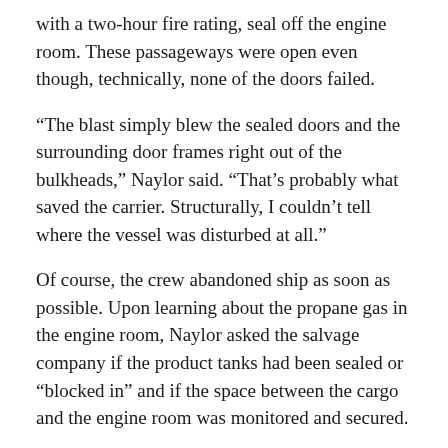with a two-hour fire rating, seal off the engine room. These passageways were open even though, technically, none of the doors failed.
“The blast simply blew the sealed doors and the surrounding door frames right out of the bulkheads,” Naylor said. “That’s probably what saved the carrier. Structurally, I couldn’t tell where the vessel was disturbed at all.”
Of course, the crew abandoned ship as soon as possible. Upon learning about the propane gas in the engine room, Naylor asked the salvage company if the product tanks had been sealed or “blocked in” and if the space between the cargo and the engine room was monitored and secured.
The salvage company said “yes” to both questions. The only other logical link between the propane cargo and engine